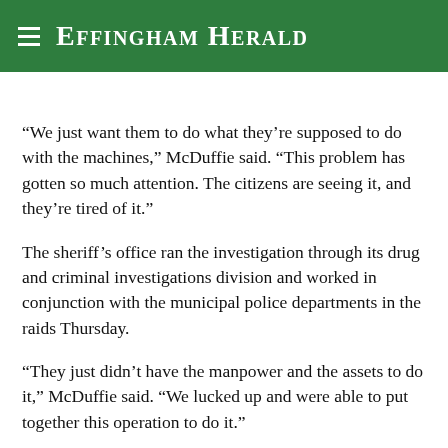Effingham Herald
“We just want them to do what they’re supposed to do with the machines,” McDuffie said. “This problem has gotten so much attention. The citizens are seeing it, and they’re tired of it.”
The sheriff’s office ran the investigation through its drug and criminal investigations division and worked in conjunction with the municipal police departments in the raids Thursday.
“They just didn’t have the manpower and the assets to do it,” McDuffie said. “We lucked up and were able to put together this operation to do it.”